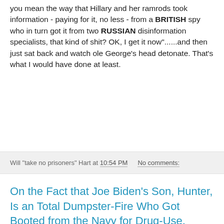you mean the way that Hillary and her ramrods took information - paying for it, no less - from a BRITISH spy who in turn got it from two RUSSIAN disinformation specialists, that kind of shit? OK, I get it now"......and then just sat back and watch ole George's head detonate. That's what I would have done at least.
Will "take no prisoners" Hart at 10:54 PM    No comments:
On the Fact that Joe Biden's Son, Hunter, Is an Total Dumpster-Fire Who Got Booted from the Navy for Drug-Use, Financially Screwed-Over His ex-Wife, Boinked His Recently-Deceased Brother's Wife, and Is Currently Locked In Several Financial Scandals Overseas